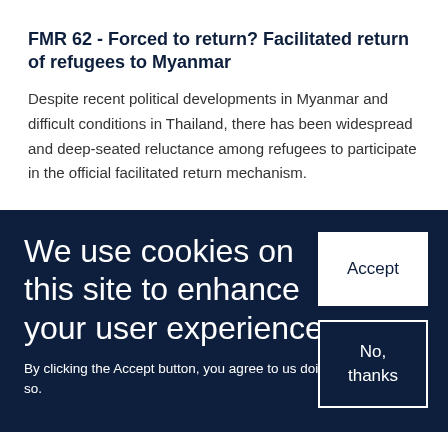FMR 62 - Forced to return? Facilitated return of refugees to Myanmar
Despite recent political developments in Myanmar and difficult conditions in Thailand, there has been widespread and deep-seated reluctance among refugees to participate in the official facilitated return mechanism.
We use cookies on this site to enhance your user experience
By clicking the Accept button, you agree to us doing so.